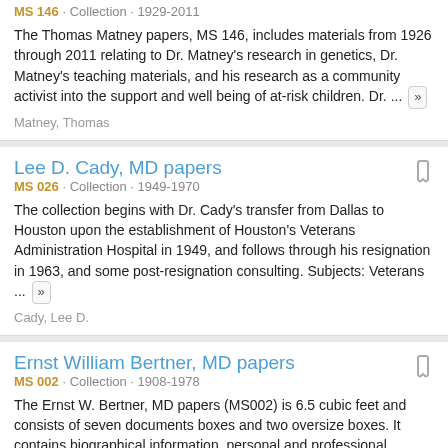MS 146 · Collection · 1929-2011
The Thomas Matney papers, MS 146, includes materials from 1926 through 2011 relating to Dr. Matney's research in genetics, Dr. Matney's teaching materials, and his research as a community activist into the support and well being of at-risk children. Dr. ...
Matney, Thomas
Lee D. Cady, MD papers
MS 026 · Collection · 1949-1970
The collection begins with Dr. Cady's transfer from Dallas to Houston upon the establishment of Houston's Veterans Administration Hospital in 1949, and follows through his resignation in 1963, and some post-resignation consulting. Subjects: Veterans ...
Cady, Lee D.
Ernst William Bertner, MD papers
MS 002 · Collection · 1908-1978
The Ernst W. Bertner, MD papers (MS002) is 6.5 cubic feet and consists of seven documents boxes and two oversize boxes. It contains biographical information, personal and professional